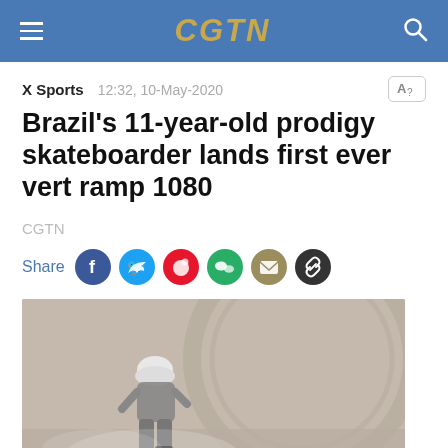CGTN
X Sports  12:32, 10-May-2020
Brazil's 11-year-old prodigy skateboarder lands first ever vert ramp 1080
CGTN
Share
[Figure (photo): A skateboarder wearing a white helmet and gray clothes crouches low on a wooden vert ramp, skateboard visible beneath, circular ramp structure in background.]